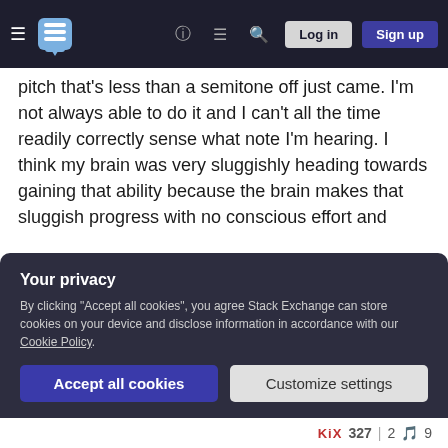[navigation bar with hamburger menu, Stack Exchange logo, help, chat, search icons, Log in and Sign up buttons]
pitch that's less than a semitone off just came. I'm not always able to do it and I can't all the time readily correctly sense what note I'm hearing. I think my brain was very sluggishly heading towards gaining that ability because the brain makes that sluggish progress with no conscious effort and even if you do not one speck have absolute pitch, that doesn't mean your brain isn't closer to gaining it than it was in the past. There's probably a hidden factor in your brain which indeed makes you closer to gaining that ability than you were in the past.
Your privacy
By clicking "Accept all cookies", you agree Stack Exchange can store cookies on your device and disclose information in accordance with our Cookie Policy.
Accept all cookies   Customize settings
KiX 327 | 2 🎵 9